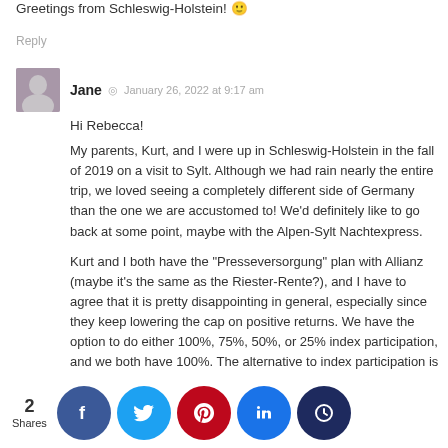Greetings from Schleswig-Holstein! 🙂
Reply
Jane  ◎  January 26, 2022 at 9:17 am
Hi Rebecca!
My parents, Kurt, and I were up in Schleswig-Holstein in the fall of 2019 on a visit to Sylt. Although we had rain nearly the entire trip, we loved seeing a completely different side of Germany than the one we are accustomed to! We'd definitely like to go back at some point, maybe with the Alpen-Sylt Nachtexpress.
Kurt and I both have the "Presseversorgung" plan with Allianz (maybe it's the same as the Riester-Rente?), and I have to agree that it is pretty disappointing in general, especially since they keep lowering the cap on positive returns. We have the option to do either 100%, 75%, 50%, or 25% index participation, and we both have 100%. The alternative to index participation is a guaranteed return, and I believe being around 1%. For both large institutions...
2 Shares